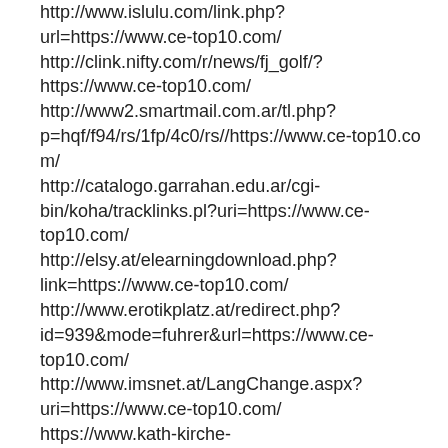http://www.islulu.com/link.php?url=https://www.ce-top10.com/ http://clink.nifty.com/r/news/fj_golf/?https://www.ce-top10.com/ http://www2.smartmail.com.ar/tl.php?p=hqf/f94/rs/1fp/4c0/rs//https://www.ce-top10.com/ http://catalogo.garrahan.edu.ar/cgi-bin/koha/tracklinks.pl?uri=https://www.ce-top10.com/ http://elsy.at/elearningdownload.php?link=https://www.ce-top10.com/ http://www.erotikplatz.at/redirect.php?id=939&mode=fuhrer&url=https://www.ce-top10.com/ http://www.imsnet.at/LangChange.aspx?uri=https://www.ce-top10.com/ https://www.kath-kirche-kaernten.at/pfarren/pfarre/C3014?URL=https://www.ce-top10.com/